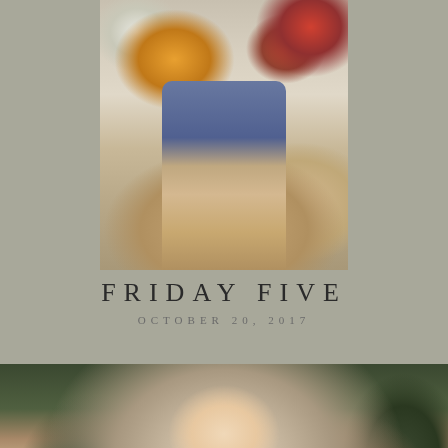[Figure (photo): Overhead flat-lay photo of a person lying down surrounded by pumpkins (orange, white, red), holding a coffee cup, wearing jeans and a camel coat, with a small succulent plant visible]
FRIDAY FIVE
OCTOBER 20, 2017
[Figure (photo): Portrait photo of a smiling blonde woman wearing a grey sweater and a dark burgundy faux fur scarf/collar, standing outdoors near trees]